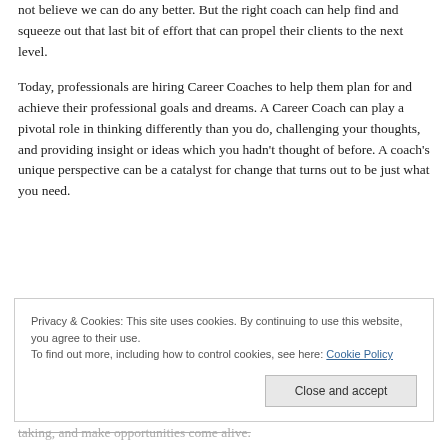not believe we can do any better. But the right coach can help find and squeeze out that last bit of effort that can propel their clients to the next level.
Today, professionals are hiring Career Coaches to help them plan for and achieve their professional goals and dreams. A Career Coach can play a pivotal role in thinking differently than you do, challenging your thoughts, and providing insight or ideas which you hadn't thought of before. A coach's unique perspective can be a catalyst for change that turns out to be just what you need.
Privacy & Cookies: This site uses cookies. By continuing to use this website, you agree to their use. To find out more, including how to control cookies, see here: Cookie Policy
Close and accept
...taking, and make opportunities come alive.